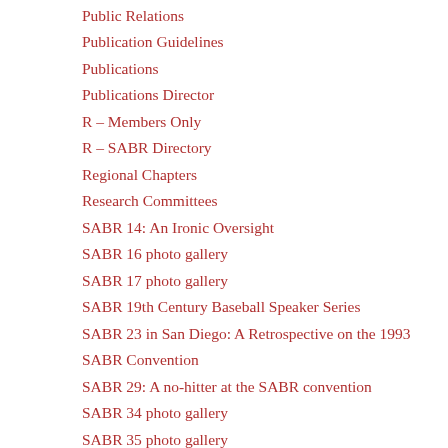Public Relations
Publication Guidelines
Publications
Publications Director
R – Members Only
R – SABR Directory
Regional Chapters
Research Committees
SABR 14: An Ironic Oversight
SABR 16 photo gallery
SABR 17 photo gallery
SABR 19th Century Baseball Speaker Series
SABR 23 in San Diego: A Retrospective on the 1993
SABR Convention
SABR 29: A no-hitter at the SABR convention
SABR 34 photo gallery
SABR 35 photo gallery